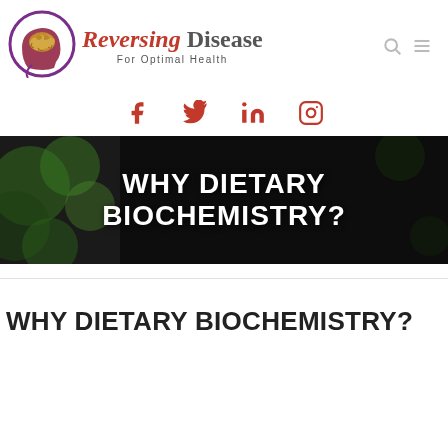Reversing Disease — For Optimal Health (logo + nav icons)
[Figure (logo): Brain inside head silhouette circular logo for Reversing Disease website, with dark red/maroon head outline and gold/brown brain illustration]
Reversing Disease For Optimal Health
[Figure (infographic): Social media icons row: Facebook, Twitter, LinkedIn, Instagram — all in red/crimson]
[Figure (photo): Hero banner image with dark background and green bokeh/plant elements, overlaid with large white bold text: WHY DIETARY BIOCHEMISTRY?]
WHY DIETARY BIOCHEMISTRY?